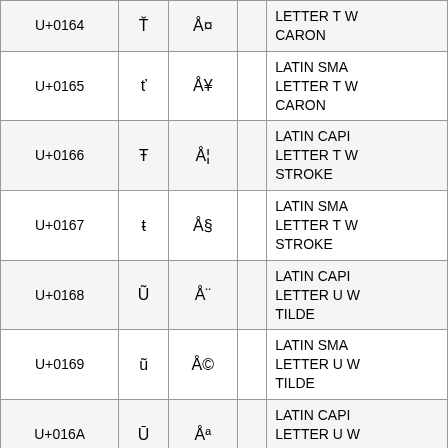| Code | Char | Encoded | Value | Name |
| --- | --- | --- | --- | --- |
| U+0164 | Ť | Å¤ |  | LETTER T WITH CARON |
| U+0165 | ť | Å¥ |  | LATIN SMALL LETTER T WITH CARON |
| U+0166 | Ŧ | Å¦ |  | LATIN CAPITAL LETTER T WITH STROKE |
| U+0167 | ŧ | Å§ |  | LATIN SMALL LETTER T WITH STROKE |
| U+0168 | Ũ | Å¨ |  | LATIN CAPITAL LETTER U WITH TILDE |
| U+0169 | ũ | Å© |  | LATIN SMALL LETTER U WITH TILDE |
| U+016A | Ū | Åª |  | LATIN CAPITAL LETTER U WITH MACRON |
| U+016B | ū | Å« |  | LATIN SMALL LETTER U WITH MACRON |
| U+016C |  |  |  | LATIN CAPI... |